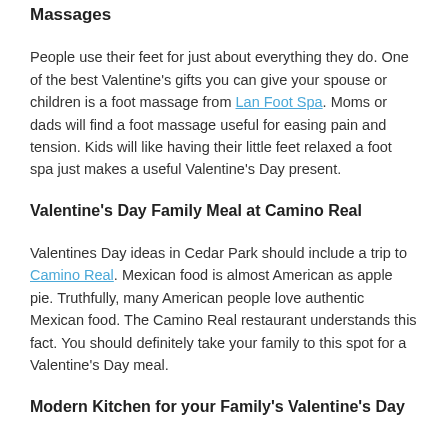Massages
People use their feet for just about everything they do. One of the best Valentine's gifts you can give your spouse or children is a foot massage from Lan Foot Spa. Moms or dads will find a foot massage useful for easing pain and tension. Kids will like having their little feet relaxed a foot spa just makes a useful Valentine's Day present.
Valentine's Day Family Meal at Camino Real
Valentines Day ideas in Cedar Park should include a trip to Camino Real. Mexican food is almost American as apple pie. Truthfully, many American people love authentic Mexican food. The Camino Real restaurant understands this fact. You should definitely take your family to this spot for a Valentine's Day meal.
Modern Kitchen for your Family's Valentine's Day